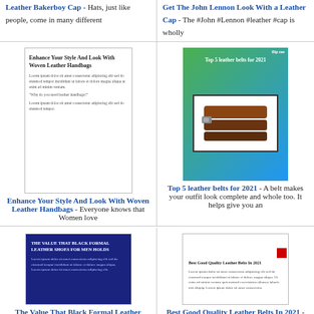Leather Bakerboy Cap - Hats, just like people, come in many different
Get The John Lennon Look With a Leather Cap - The #John #Lennon #leather #cap is wholly
[Figure (screenshot): Thumbnail of article: Enhance Your Style And Look With Woven Leather Handbags]
[Figure (screenshot): Thumbnail of article: Top 5 leather belts for 2021 with image of stacked leather belts on green/blue gradient background]
Enhance Your Style And Look With Woven Leather Handbags - Everyone knows that Women love
Top 5 leather belts for 2021 - A belt makes your outfit look complete and whole too. It helps give you an
[Figure (screenshot): Thumbnail of article: The Value That Black Formal Leather Shoes For Men Holds - dark blue background with text]
[Figure (screenshot): Thumbnail of article: Best Good Quality Leather Belts In 2021 - white background article preview]
The Value That Black Formal Leather Shoes For Men Holds - The use of formal leather shoes is
Best Good Quality Leather Belts In 2021 - Leather belts are always good for look or quality. Belts
[Figure (screenshot): Thumbnail of article: How Cynthia Lennon Inspired a Fashion Icon - black and white group photo]
[Figure (screenshot): Thumbnail of article: John Lennon - From Buddy Holly Wannabe to Legend - black and white group photo]